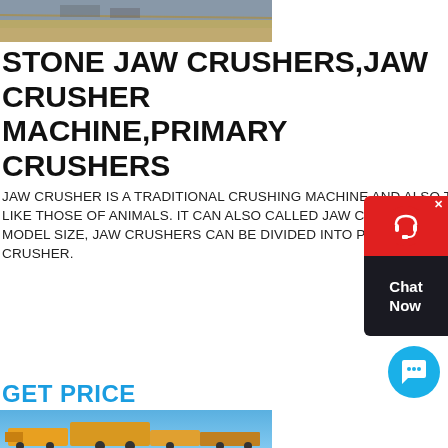[Figure (photo): Aerial/ground-level photo of a mining or quarry site with heavy equipment and soil]
STONE JAW CRUSHERS,JAW CRUSHER MACHINE,PRIMARY CRUSHERS
JAW CRUSHER IS A TRADITIONAL CRUSHING MACHINE AND ALSO THE EARLIEST ONE. IT IS COMPOSED TO JAW PLATES LIKE THOSE OF ANIMALS. IT CAN ALSO CALLED JAW CRUSHER MACHINE AND STONE JAW CRUSHER.ACCORDING TO THE MODEL SIZE, JAW CRUSHERS CAN BE DIVIDED INTO PRIMARY JAW CRUSHER, MEDIUM JAW CRUSHER AND FINE JAW CRUSHER.
GET PRICE
[Figure (photo): Photo of yellow jaw crusher machines outdoors against a blue sky]